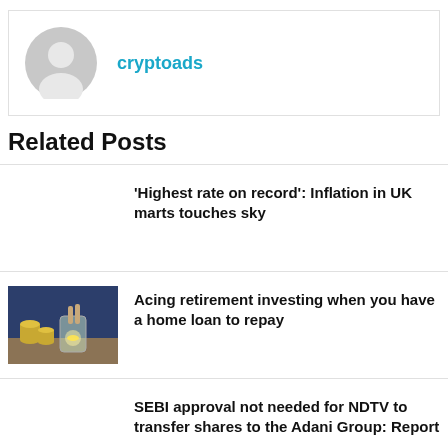[Figure (illustration): User profile avatar placeholder — grey circle with silhouette icon]
cryptoads
Related Posts
'Highest rate on record': Inflation in UK marts touches sky
[Figure (photo): Person placing coin into glass jar with stacks of coins on table]
Acing retirement investing when you have a home loan to repay
SEBI approval not needed for NDTV to transfer shares to the Adani Group: Report